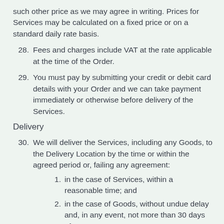such other price as we may agree in writing. Prices for Services may be calculated on a fixed price or on a standard daily rate basis.
28. Fees and charges include VAT at the rate applicable at the time of the Order.
29. You must pay by submitting your credit or debit card details with your Order and we can take payment immediately or otherwise before delivery of the Services.
Delivery
30. We will deliver the Services, including any Goods, to the Delivery Location by the time or within the agreed period or, failing any agreement:
1. in the case of Services, within a reasonable time; and
2. in the case of Goods, without undue delay and, in any event, not more than 30 days after